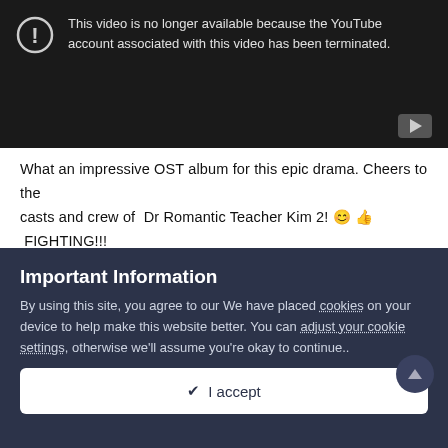[Figure (screenshot): YouTube video error screen with dark background showing a circle with exclamation mark icon and message: 'This video is no longer available because the YouTube account associated with this video has been terminated.' YouTube logo bottom right.]
What an impressive OST album for this epic drama. Cheers to the casts and crew of  Dr Romantic Teacher Kim 2! 😊 👍 FIGHTING!!!
Some eng subs on the latest BTS
Important Information
By using this site, you agree to our We have placed cookies on your device to help make this website better. You can adjust your cookie settings, otherwise we'll assume you're okay to continue..
✔ I accept